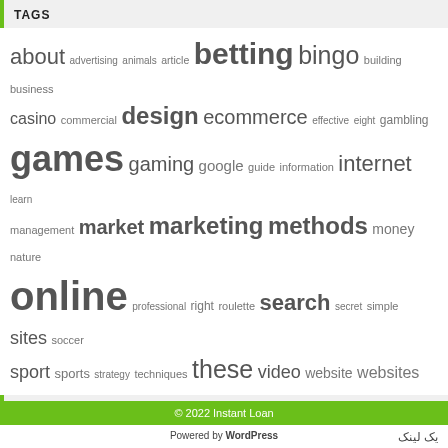TAGS
about advertising animals article betting bingo building business casino commercial design ecommerce effective eight gambling games gaming google guide information internet learn management market marketing methods money nature online professional right roulette search secret simple sites soccer sport sports strategy techniques these video website websites
USEFUL LINKS
یک لینک
پیچ و مهره
تعمیر صندلی اداری
تعمیرات صندلی اداری
© 2022 Instant Loan
Powered by WordPress